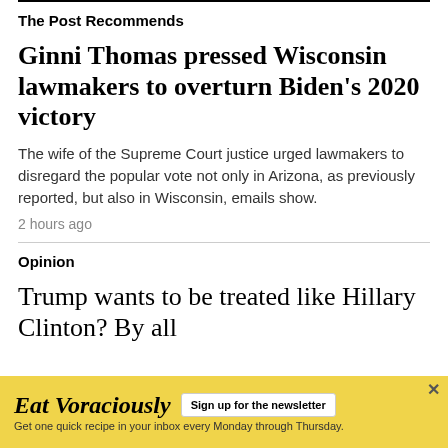The Post Recommends
Ginni Thomas pressed Wisconsin lawmakers to overturn Biden's 2020 victory
The wife of the Supreme Court justice urged lawmakers to disregard the popular vote not only in Arizona, as previously reported, but also in Wisconsin, emails show.
2 hours ago
Opinion
Trump wants to be treated like Hillary Clinton? By all
[Figure (other): Advertisement banner for 'Eat Voraciously' newsletter with yellow background, sign up button, and tagline 'Get one quick recipe in your inbox every Monday through Thursday.']